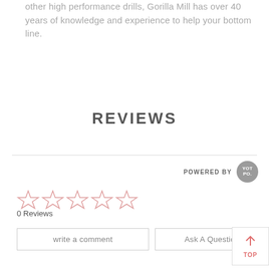other high performance drills, Gorilla Mill has over 40 years of knowledge and experience to help your bottom line.
REVIEWS
POWERED BY [YOTPO]
[Figure (other): Five empty/outline star icons in pink/salmon color representing a 0-star rating]
0 Reviews
write a comment
Ask A Question
TOP